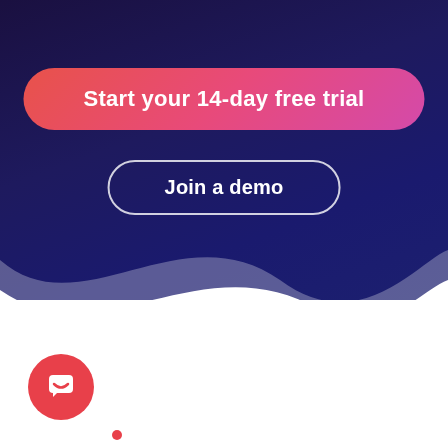[Figure (illustration): Dark navy/purple gradient background with wave shape transitioning to white, two CTA buttons: 'Start your 14-day free trial' (pink/coral gradient pill button) and 'Join a demo' (outlined white pill button), a red circular chat icon in bottom left, and a small red dot at bottom center.]